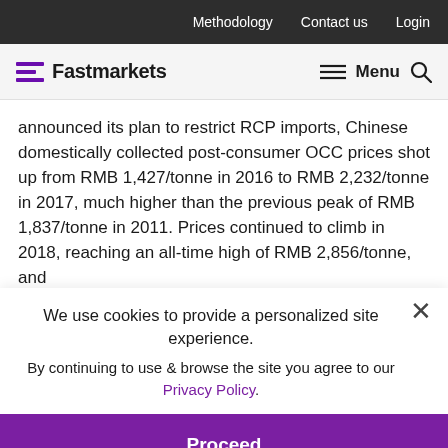Methodology  Contact us  Login
Fastmarkets   Menu
announced its plan to restrict RCP imports, Chinese domestically collected post-consumer OCC prices shot up from RMB 1,427/tonne in 2016 to RMB 2,232/tonne in 2017, much higher than the previous peak of RMB 1,837/tonne in 2011. Prices continued to climb in 2018, reaching an all-time high of RMB 2,856/tonne, and have never fallen below RMB 2,000/tonne on an annual basis since then.
We use cookies to provide a personalized site experience.
By continuing to use & browse the site you agree to our Privacy Policy.
Proceed
and fiber demand caused in part by the massive market tightened annual prices of domestic post-consumer OCC reaching RMB
and fiber demand caused in part by the massive